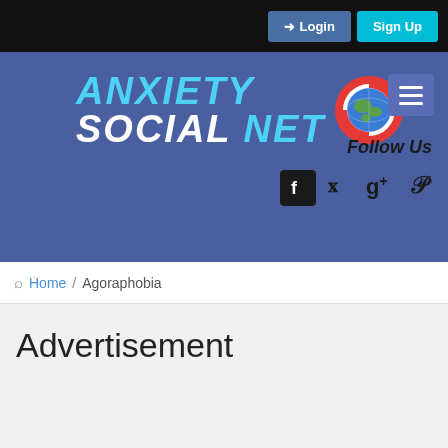Login  Sign Up
[Figure (logo): Anxiety Social Net logo with globe lifesaver icon, blue header with Follow Us section and social media icons (Facebook, Twitter, Google+, Pinterest)]
Home / Agoraphobia
Advertisement